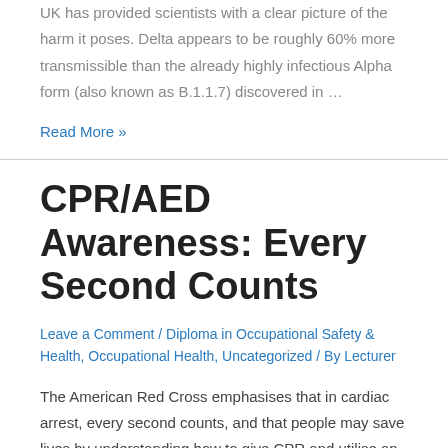UK has provided scientists with a clear picture of the harm it poses. Delta appears to be roughly 60% more transmissible than the already highly infectious Alpha form (also known as B.1.1.7) discovered in …
Read More »
CPR/AED Awareness: Every Second Counts
Leave a Comment / Diploma in Occupational Safety & Health, Occupational Health, Uncategorized / By Lecturer
The American Red Cross emphasises that in cardiac arrest, every second counts, and that people may save lives by understanding how to give CPR and utilise an automated external defibrillator (AED). Cardiac arrest happens when the heart suddenly stops beating or beats inefficiently, preventing blood from reaching the